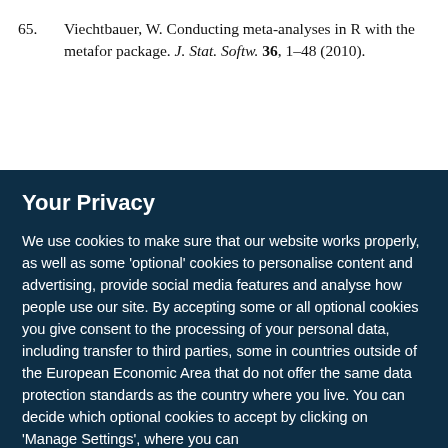65. Viechtbauer, W. Conducting meta-analyses in R with the metafor package. J. Stat. Softw. 36, 1–48 (2010).
Your Privacy
We use cookies to make sure that our website works properly, as well as some 'optional' cookies to personalise content and advertising, provide social media features and analyse how people use our site. By accepting some or all optional cookies you give consent to the processing of your personal data, including transfer to third parties, some in countries outside of the European Economic Area that do not offer the same data protection standards as the country where you live. You can decide which optional cookies to accept by clicking on 'Manage Settings', where you can
Get the most important science stories of the day, free in your inbox.
Sign up for Nature Briefing